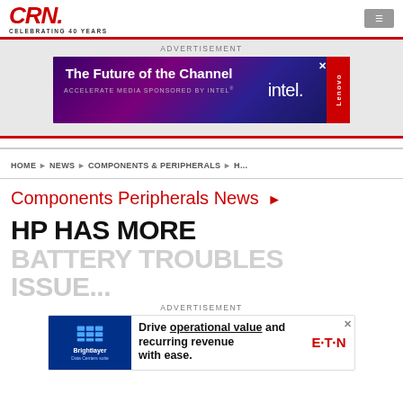CRN. CELEBRATING 40 YEARS
[Figure (other): Advertisement banner: The Future of the Channel - Accelerate Media Sponsored by Intel, with Intel and Lenovo logos]
ADVERTISEMENT
HOME ▶ NEWS ▶ COMPONENTS & PERIPHERALS ▶ H...
Components Peripherals News ▶
HP HAS MORE BATTERY TROUBLES ISSUE...
ADVERTISEMENT
[Figure (other): Advertisement banner: Brightlayer Data Centers suite - Drive operational value and recurring revenue with ease. Eaton logo.]